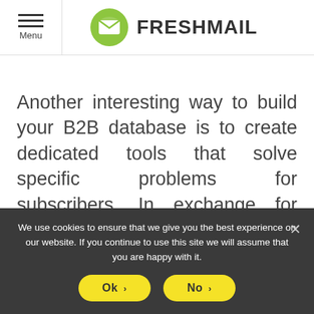Menu | FRESHMAIL
Another interesting way to build your B2B database is to create dedicated tools that solve specific problems for subscribers. In exchange for using them you simply ask for an email address. A similar strategy is used by Sigstr, which makes tools available that generate personalized email footers. It
We use cookies to ensure that we give you the best experience on our website. If you continue to use this site we will assume that you are happy with it.